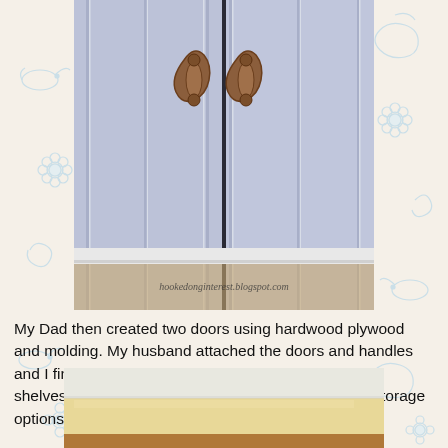[Figure (photo): Close-up photo of light blue/lavender cabinet doors with ornate bronze/copper handles, showing vertical molding detail. Watermark reads hookedonginterest.blogspot.com]
My Dad then created two doors using hardwood plywood and molding. My husband attached the doors and handles and I finished it off by adding fun contact paper to the shelves and drawer. I also added some inexpensive storage options from the Container Store in the drawer.
[Figure (photo): Partial photo of what appears to be a drawer or shelf with light yellow/cream contact paper lining, showing a white surface above and wooden frame below.]